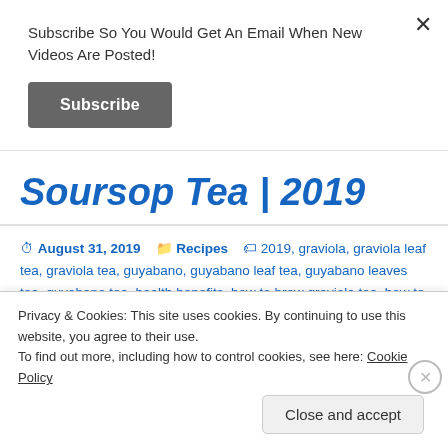Subscribe So You Would Get An Email When New Videos Are Posted!
Subscribe
Soursop Tea | 2019
August 31, 2019   Recipes   2019, graviola, graviola leaf tea, graviola tea, guyabano, guyabano leaf tea, guyabano leaves tea, guyabano tea, health benefits, how to brew graviola tea, how to brew guyabano, how to brew soursop tea, how to make graviola tea, how to make guyabano tea, how to make soursop leaf tea, how to make
Privacy & Cookies: This site uses cookies. By continuing to use this website, you agree to their use.
To find out more, including how to control cookies, see here: Cookie Policy
Close and accept